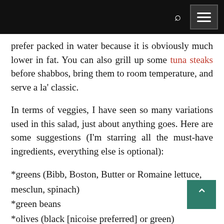[navigation bar with search and menu icons]
prefer packed in water because it is obviously much lower in fat. You can also grill up some tuna steaks before shabbos, bring them to room temperature, and serve a la' classic.
In terms of veggies, I have seen so many variations used in this salad, just about anything goes. Here are some suggestions (I'm starring all the must-have ingredients, everything else is optional):
*greens (Bibb, Boston, Butter or Romaine lettuce, mesclun, spinach)
*green beans
*olives (black [nicoise preferred] or green)